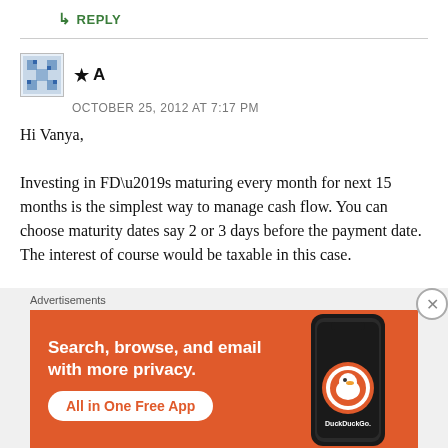↳ REPLY
★ A
OCTOBER 25, 2012 AT 7:17 PM
Hi Vanya,

Investing in FD’s maturing every month for next 15 months is the simplest way to manage cash flow. You can choose maturity dates say 2 or 3 days before the payment date. The interest of course would be taxable in this case.
[Figure (infographic): DuckDuckGo advertisement banner with orange background, text 'Search, browse, and email with more privacy. All in One Free App', and a smartphone image with DuckDuckGo logo.]